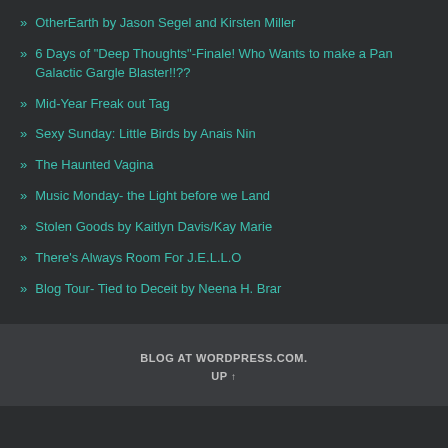OtherEarth by Jason Segel and Kirsten Miller
6 Days of "Deep Thoughts"-Finale! Who Wants to make a Pan Galactic Gargle Blaster!!??
Mid-Year Freak out Tag
Sexy Sunday: Little Birds by Anais Nin
The Haunted Vagina
Music Monday- the Light before we Land
Stolen Goods by Kaitlyn Davis/Kay Marie
There's Always Room For J.E.L.L.O
Blog Tour- Tied to Deceit by Neena H. Brar
BLOG AT WORDPRESS.COM. UP ↑